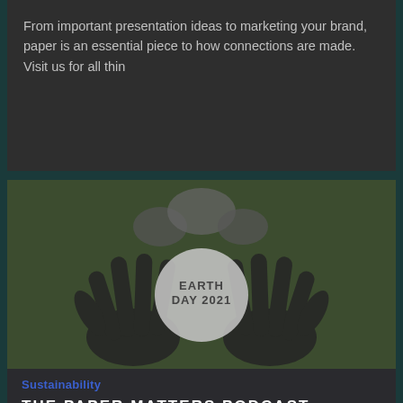From important presentation ideas to marketing your brand, paper is an essential piece to how connections are made. Visit us for all thin
[Figure (photo): Earth Day 2021 image showing two hands holding a globe with speech bubbles, set against a dark green grassy background.]
Sustainability
THE PAPER MATTERS PODCAST: PARTNERS IN...
As we celebrate Earth Day today, we hope that our Partners in Sustainability Series shows what environmentally sustainability means.
Read More